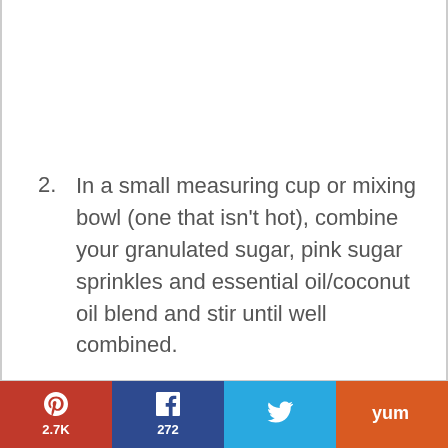2. In a small measuring cup or mixing bowl (one that isn't hot), combine your granulated sugar, pink sugar sprinkles and essential oil/coconut oil blend and stir until well combined.
Pinterest 2.7K | Facebook 272 | Twitter | Yummly